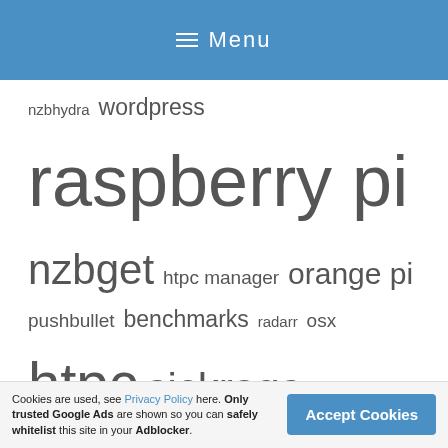Menu
nzbhydra wordpress raspberry pi nzbget htpc manager orange pi pushbullet benchmarks radarr osx htpc sickrage synology lazylibrarian giveaway nzbmegasearch debian nas dlna virtual machines arch linux remotes nzbdrone sickgear tv streaming banana pi vpn reviews utorrent kodi xbmc routers nzedb transmission reverse proxy plex music mylar couchpotato odroid vps
Cookies are used, see Privacy Policy here. Only trusted Google Ads are shown so you can safely whitelist this site in your Adblocker.